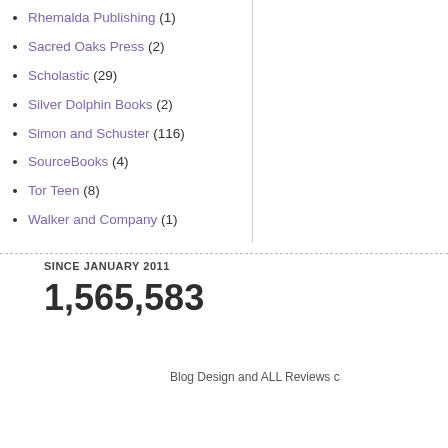Rhemalda Publishing (1)
Sacred Oaks Press (2)
Scholastic (29)
Silver Dolphin Books (2)
Simon and Schuster (116)
SourceBooks (4)
Tor Teen (8)
Walker and Company (1)
SINCE JANUARY 2011
1,565,583
Blog Design and ALL Reviews c